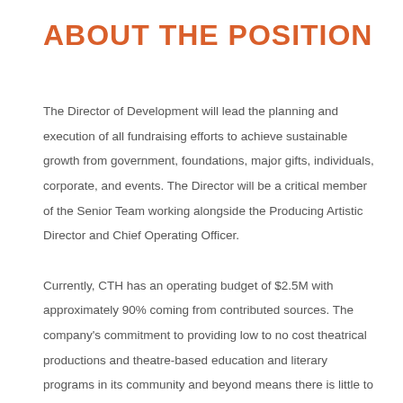ABOUT THE POSITION
The Director of Development will lead the planning and execution of all fundraising efforts to achieve sustainable growth from government, foundations, major gifts, individuals, corporate, and events. The Director will be a critical member of the Senior Team working alongside the Producing Artistic Director and Chief Operating Officer.
Currently, CTH has an operating budget of $2.5M with approximately 90% coming from contributed sources. The company's commitment to providing low to no cost theatrical productions and theatre-based education and literary programs in its community and beyond means there is little to no earned revenue. Poised for growth, the company is currently also in the planning phase of finding a permanent home that will become the bricks and mortar emblem of its artistic vision,